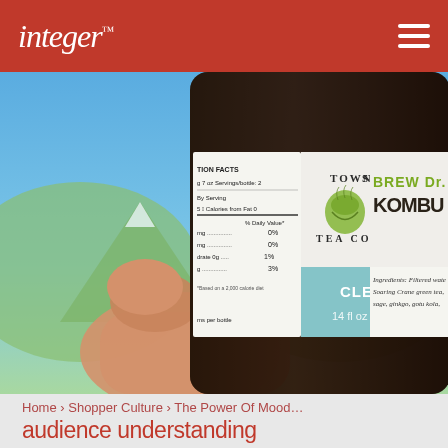integer
[Figure (photo): A hand holding a Townshend's Brew Dr. Kombucha bottle with Clear Mind label (14 fl oz / 414 ml). The label shows nutrition facts, Townshend's Tea Company branding with a tea cup illustration, 'BREW DR. KOMBU...' in large text, 'CLEAR MIND' on a teal background, and partial ingredients list. Background shows blue sky and green mountains.]
Home > Shopper Culture > The Power Of Mood...
audience understanding